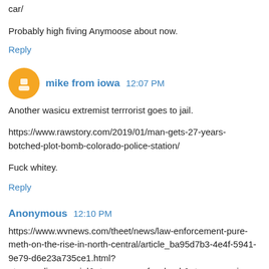car/
Probably high fiving Anymoose about now.
Reply
mike from iowa  12:07 PM
Another wasicu extremist terrrorist goes to jail.
https://www.rawstory.com/2019/01/man-gets-27-years-botched-plot-bomb-colorado-police-station/
Fuck whitey.
Reply
Anonymous  12:10 PM
https://www.wvnews.com/theet/news/law-enforcement-pure-meth-on-the-rise-in-north-central/article_ba95d7b3-4e4f-5941-9e79-d6e23a735ce1.html?utm_medium=social&utm_source=facebook&utm_campaig